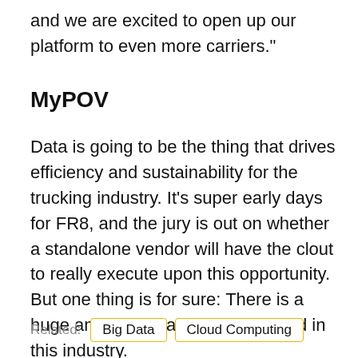and we are excited to open up our platform to even more carriers."
MyPOV
Data is going to be the thing that drives efficiency and sustainability for the trucking industry. It's super early days for FR8, and the jury is out on whether a standalone vendor will have the clout to really execute upon this opportunity. But one thing is for sure: There is a huge amount of value to be created in this industry.
Related: Big Data   Cloud Computing